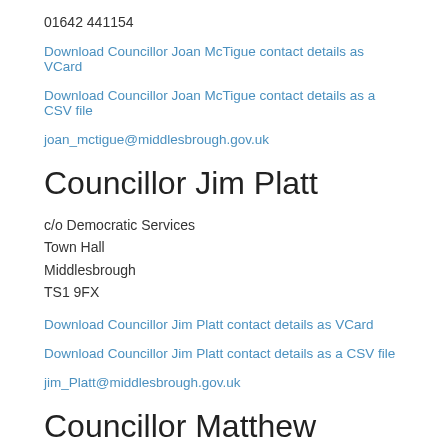01642 441154
Download Councillor Joan McTigue contact details as VCard
Download Councillor Joan McTigue contact details as a CSV file
joan_mctigue@middlesbrough.gov.uk
Councillor Jim Platt
c/o Democratic Services
Town Hall
Middlesbrough
TS1 9FX
Download Councillor Jim Platt contact details as VCard
Download Councillor Jim Platt contact details as a CSV file
jim_Platt@middlesbrough.gov.uk
Councillor Matthew Storey
c/o Democratic Services